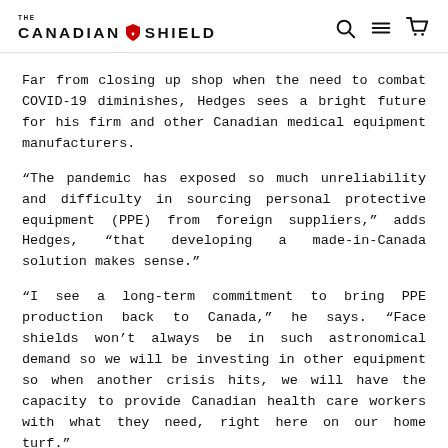THE CANADIAN SHIELD
Far from closing up shop when the need to combat COVID-19 diminishes, Hedges sees a bright future for his firm and other Canadian medical equipment manufacturers.
“The pandemic has exposed so much unreliability and difficulty in sourcing personal protective equipment (PPE) from foreign suppliers,” adds Hedges, “that developing a made-in-Canada solution makes sense.”
“I see a long-term commitment to bring PPE production back to Canada,” he says. “Face shields won’t always be in such astronomical demand so we will be investing in other equipment so when another crisis hits, we will have the capacity to provide Canadian health care workers with what they need, right here on our home turf.”
A re-vitalization of Canadian manufacturing is one of the